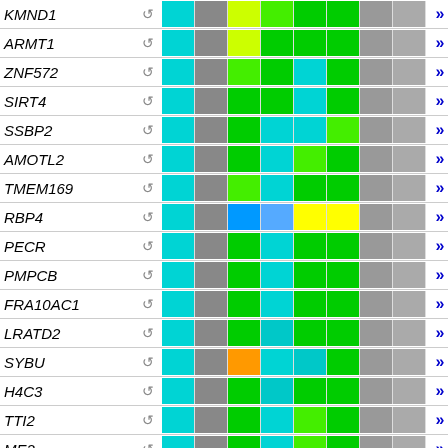[Figure (table-as-image): Heatmap table showing gene expression data for multiple genes (KMND1, ARMT1, ZNF572, SIRT4, SSBP2, AMOTL2, TMEM169, RBP4, PECR, PMPCB, FRA10AC1, LRATD2, SYBU, H4C3, TTI2, ME2) with colored cells indicating expression levels ranging from gray (low/absent) through cyan, green, yellow to orange/blue, with navigation arrows on the right.]